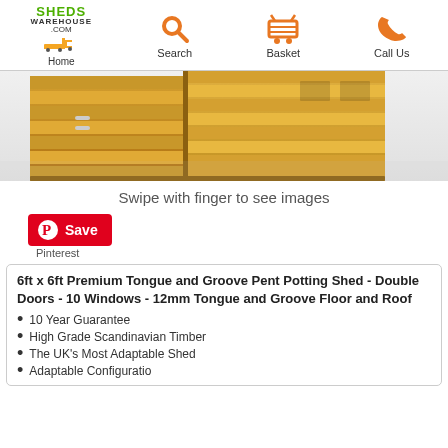Home | Search | Basket | Call Us
[Figure (photo): Product photo of a 6ft x 6ft wooden potting shed showing corner view with tongue and groove panels, double doors and windows]
Swipe with finger to see images
[Figure (other): Pinterest Save button]
Pinterest
6ft x 6ft Premium Tongue and Groove Pent Potting Shed - Double Doors - 10 Windows - 12mm Tongue and Groove Floor and Roof
10 Year Guarantee
High Grade Scandinavian Timber
The UK's Most Adaptable Shed
Adaptable Configuration